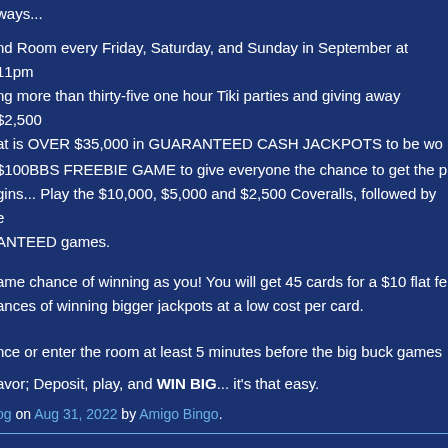ways...
nd Room every Friday, Saturday, and Sunday in September at 11pm ng more than thirty-five one hour Tiki parties and giving away $2,500 at is OVER $35,000 in GUARANTEED CASH JACKPOTS to be wo
$100BBS FREEBIE GAME to give everyone the chance to get the p gins... Play the $10,000, $5,000 and $2,500 Coveralls, followed by e ANTEED games.
ame chance of winning as you! You will get 45 cards for a $10 flat fe ances of winning bigger jackpots at a low cost per card.
nce or enter the room at least 5 minutes before the big buck games
avor; Deposit, play, and WIN BIG... it's that easy.
og on Aug 31, 2022 by Amigo Bingo.
res Tourney Weekend Room